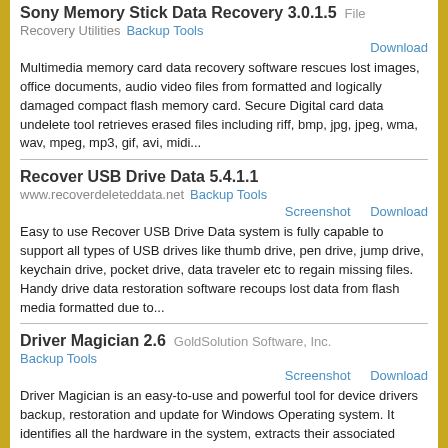Sony Memory Stick Data Recovery 3.0.1.5   File
Recovery Utilities   Backup Tools
Download
Multimedia memory card data recovery software rescues lost images, office documents, audio video files from formatted and logically damaged compact flash memory card. Secure Digital card data undelete tool retrieves erased files including riff, bmp, jpg, jpeg, wma, wav, mpeg, mp3, gif, avi, midi...
Recover USB Drive Data 5.4.1.1
www.recoverdeleteddata.net   Backup Tools
Screenshot   Download
Easy to use Recover USB Drive Data system is fully capable to support all types of USB drives like thumb drive, pen drive, jump drive, keychain drive, pocket drive, data traveler etc to regain missing files. Handy drive data restoration software recoups lost data from flash media formatted due to...
Driver Magician 2.6   GoldSolution Software, Inc.
Backup Tools
Screenshot   Download
Driver Magician is an easy-to-use and powerful tool for device drivers backup, restoration and update for Windows Operating system. It identifies all the hardware in the system, extracts their associated drivers from the hard disk and backs them up to a location of your choice. Then when you...
Disk Data Recovery Software 4.0.1.6   Data
Recovery Software   Backup Tools
Screenshot   Download